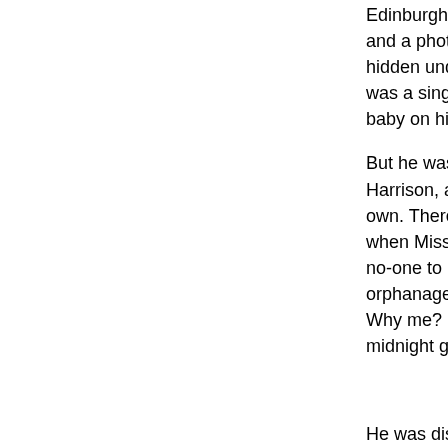Edinburgh. She left him with nothing but a blanket and a photograph. The photograph Luke still had, hidden under a loose floorboard under his bed. It was a single snapshot of time, an image of him as a baby on his mother's knee.
But he was found by a woman named Miss Harrison, and she had taken him in as if he was her own. There Luke had lived, until a few months ago when Miss Harrison had died of cholera. There was no-one to look after him, so he was taken to the orphanage. A single tear rolled down Luke's cheek. Why me? He thought, as he lay awake in the midnight gloom.
* * *
He was disturbed in the morning by a sharp tap on the door.
"Get up and get dressed!" called a sharp voice from